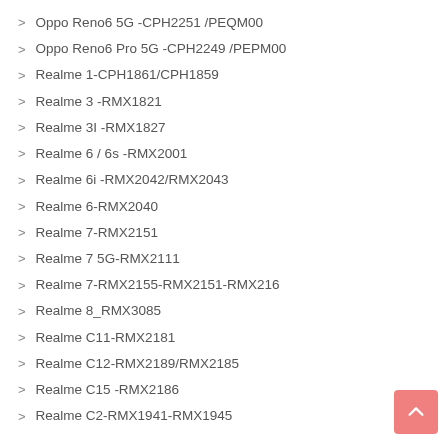Oppo Reno6 5G  -CPH2251 /PEQM00
Oppo Reno6 Pro 5G -CPH2249 /PEPM00
Realme 1-CPH1861/CPH1859
Realme 3 -RMX1821
Realme 3I -RMX1827
Realme 6 / 6s -RMX2001
Realme 6i -RMX2042/RMX2043
Realme 6-RMX2040
Realme 7-RMX2151
Realme 7 5G-RMX2111
Realme 7-RMX2155-RMX2151-RMX216
Realme 8_RMX3085
Realme C11-RMX2181
Realme C12-RMX2189/RMX2185
Realme C15 -RMX2186
Realme C2-RMX1941-RMX1945